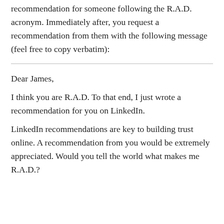recommendation for someone following the R.A.D. acronym. Immediately after, you request a recommendation from them with the following message (feel free to copy verbatim):
Dear James,
I think you are R.A.D. To that end, I just wrote a recommendation for you on LinkedIn.
LinkedIn recommendations are key to building trust online. A recommendation from you would be extremely appreciated. Would you tell the world what makes me R.A.D.?